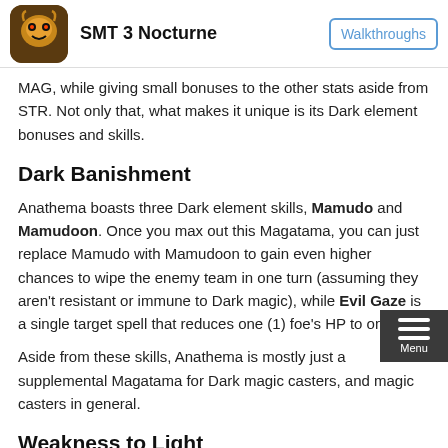SMT 3 Nocturne | Walkthroughs
MAG, while giving small bonuses to the other stats aside from STR. Not only that, what makes it unique is its Dark element bonuses and skills.
Dark Banishment
Anathema boasts three Dark element skills, Mamudo and Mamudoon. Once you max out this Magatama, you can just replace Mamudo with Mamudoon to gain even higher chances to wipe the enemy team in one turn (assuming they aren't resistant or immune to Dark magic), while Evil Gaze is a single target spell that reduces one (1) foe's HP to one.
Aside from these skills, Anathema is mostly just a supplemental Magatama for Dark magic casters, and magic casters in general.
Weakness to Light